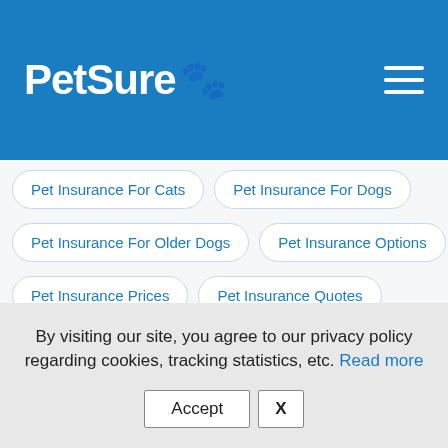PetSure 🐾
Pet Insurance For Cats
Pet Insurance For Dogs
Pet Insurance For Older Dogs
Pet Insurance Options
Pet Insurance Prices
Pet Insurance Quotes
Pet Insurance Recommended By Vets
Pet Welfare
Pets
PetSure
Pre Existing Condition
Pre-Existing Condition
Product News
By visiting our site, you agree to our privacy policy regarding cookies, tracking statistics, etc. Read more